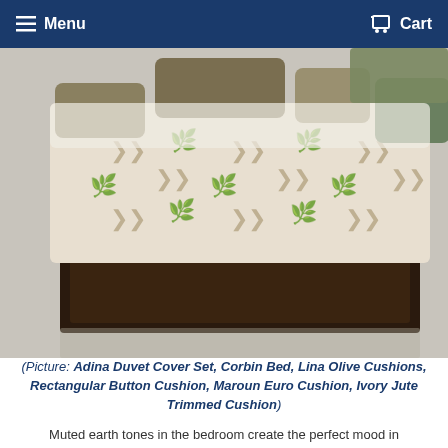Menu  Cart
[Figure (photo): Photo of a bed with patterned duvet cover featuring leaf/chevron motifs in beige/tan tones, with olive and beige cushions, on a dark wood bed frame with footboard visible]
(Picture: Adina Duvet Cover Set, Corbin Bed, Lina Olive Cushions, Rectangular Button Cushion, Maroun Euro Cushion, Ivory Jute Trimmed Cushion)
Muted earth tones in the bedroom create the perfect mood in